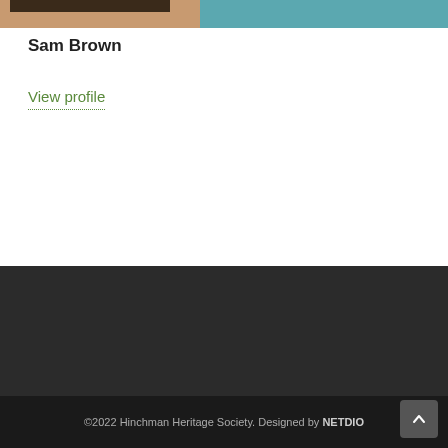[Figure (photo): Top photo strip showing partial image of person with teal/turquoise background]
Sam Brown
View profile
[Figure (other): Dark footer banner area]
©2022 Hinchman Heritage Society. Designed by NETDIO